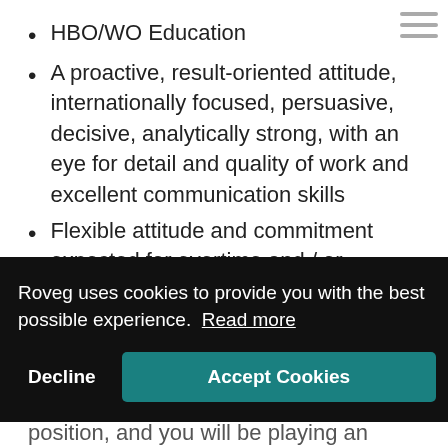HBO/WO Education
A proactive, result-oriented attitude, internationally focused, persuasive, decisive, analytically strong, with an eye for detail and quality of work and excellent communication skills
Flexible attitude and commitment expected for overtime and / or evenings and weekend shifts;
Roveg uses cookies to provide you with the best possible experience. Read more
position, and you will be playing an